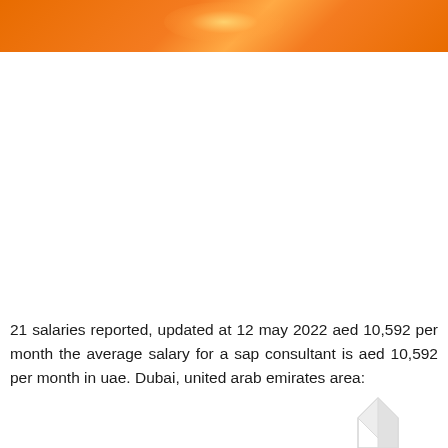[Figure (photo): Orange/amber colored banner image at the top of the page, appears to show a bright light or sun effect on an orange background]
21 salaries reported, updated at 12 may 2022 aed 10,592 per month the average salary for a sap consultant is aed 10,592 per month in uae. Dubai, united arab emirates area:
[Figure (illustration): Partial chart or graph illustration visible at bottom right corner, showing what appears to be a bar or area chart outline]